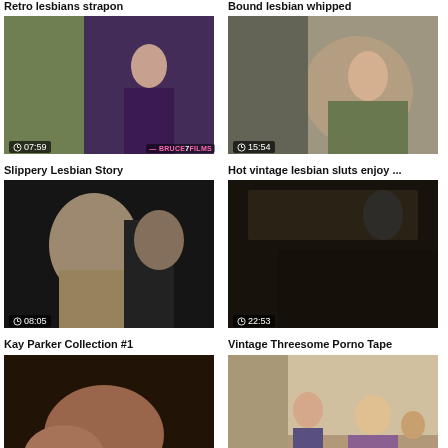Retro lesbians strapon
Bound lesbian whipped
[Figure (screenshot): Video thumbnail with duration 07:59, Bruce Films watermark]
[Figure (screenshot): Video thumbnail with duration 15:54]
Slippery Lesbian Story
Hot vintage lesbian sluts enjoy ...
[Figure (screenshot): Video thumbnail with duration 08:05]
[Figure (screenshot): Video thumbnail with duration 22:53]
Kay Parker Collection #1
Vintage Threesome Porno Tape
[Figure (screenshot): Video thumbnail with duration 24:38]
[Figure (screenshot): Video thumbnail with duration 15:51, scroll-to-top button]